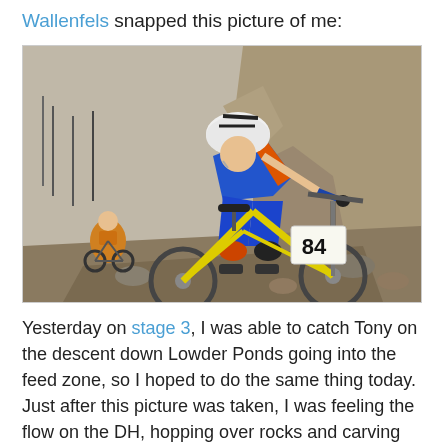Wallenfels snapped this picture of me:
[Figure (photo): A mountain biker wearing number 84, dressed in blue, orange and white cycling kit with a white helmet and sunglasses, riding a yellow mountain bike on a rocky dirt trail. Another cyclist is visible in the background. Rocky hillside and trees in the background.]
Yesterday on stage 3, I was able to catch Tony on the descent down Lowder Ponds going into the feed zone, so I hoped to do the same thing today. Just after this picture was taken, I was feeling the flow on the DH, hopping over rocks and carving the corners. And then I heard the dreaded hissssssss coming from my back tire.
I still don't know for sure what caused the flat because it